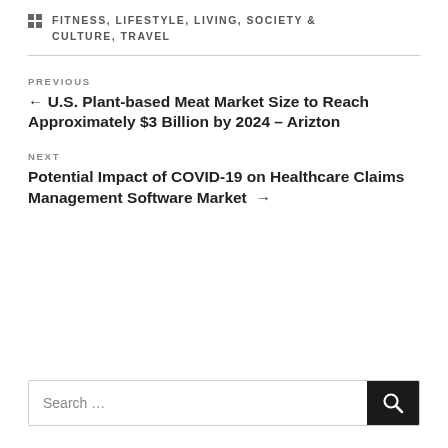FITNESS, LIFESTYLE, LIVING, SOCIETY & CULTURE, TRAVEL
PREVIOUS
← U.S. Plant-based Meat Market Size to Reach Approximately $3 Billion by 2024 – Arizton
NEXT
Potential Impact of COVID-19 on Healthcare Claims Management Software Market →